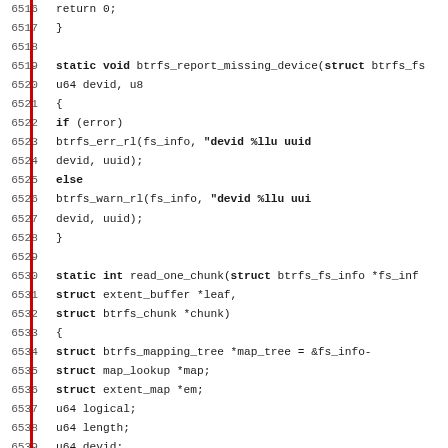[Figure (screenshot): Source code listing (C language) showing lines 6516–6547 of a Linux kernel file related to btrfs filesystem. Contains functions btrfs_report_missing_device and read_one_chunk with variable declarations and assignments. A red vertical bar appears on the left margin.]